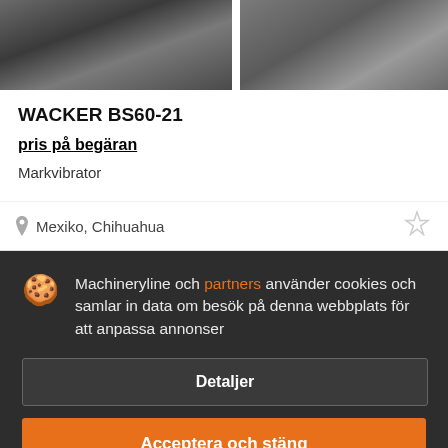[Figure (photo): Two product photos of machinery (WACKER BS60-21 plate compactor/rammer) side by side at top of page, partially visible]
WACKER BS60-21
pris på begäran
Markvibrator
Mexiko, Chihuahua
Machineryline och partners använder cookies och samlar in data om besök på denna webbplats för att anpassa annonser
Detaljer
Acceptera och stäng
[Figure (photo): Bottom strip showing partially visible machinery photos beneath the cookie consent dialog]